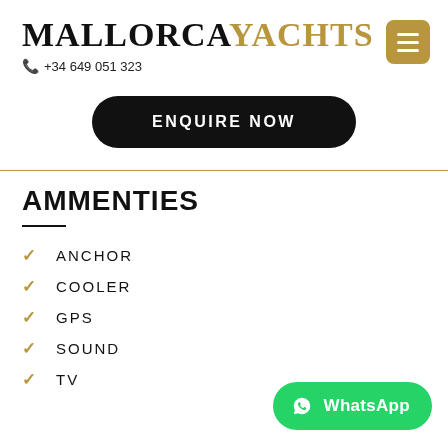MALLORCAYACHTS +34 649 051 323
ENQUIRE NOW
AMMENTIES
ANCHOR
COOLER
GPS
SOUND
TV
WhatsApp